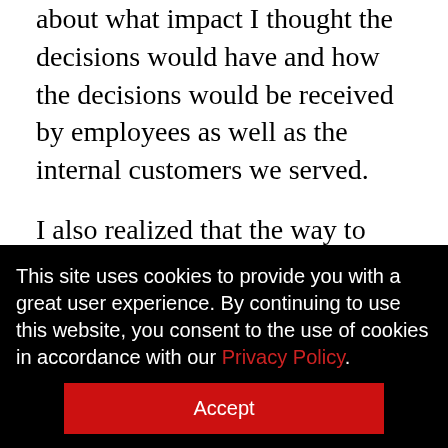about what impact I thought the decisions would have and how the decisions would be received by employees as well as the internal customers we served.
I also realized that the way to gain acceptance for recommendations that were different from what management would usually decide was to present the recommendations in business terms. In this case, I had included the corporate investment in training the individual, the value
This site uses cookies to provide you with a great user experience. By continuing to use this website, you consent to the use of cookies in accordance with our Privacy Policy.
Accept